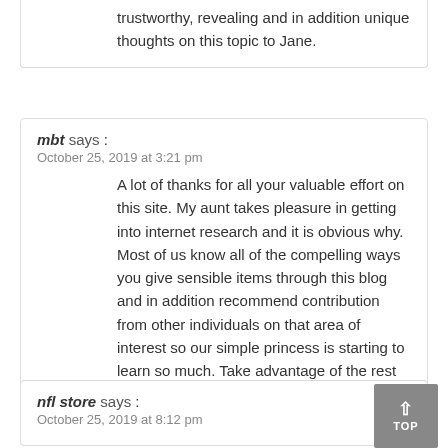trustworthy, revealing and in addition unique thoughts on this topic to Jane.
mbt says : October 25, 2019 at 3:21 pm
A lot of thanks for all your valuable effort on this site. My aunt takes pleasure in getting into internet research and it is obvious why. Most of us know all of the compelling ways you give sensible items through this blog and in addition recommend contribution from other individuals on that area of interest so our simple princess is starting to learn so much. Take advantage of the rest of the new year. You are always carrying out a very good job.
nfl store says : October 25, 2019 at 8:12 pm